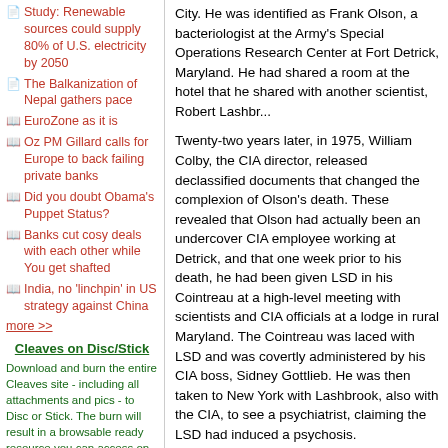Study: Renewable sources could supply 80% of U.S. electricity by 2050
The Balkanization of Nepal gathers pace
EuroZone as it is
Oz PM Gillard calls for Europe to back failing private banks
Did you doubt Obama's Puppet Status?
Banks cut cosy deals with each other while You get shafted
India, no 'linchpin' in US strategy against China
more >>
Cleaves on Disc/Stick
Download and burn the entire Cleaves site - including all attachments and pics - to Disc or Stick. The burn will result in a browsable ready resource you can access on or offline anywhere anytime you wish!
Download
Optional Download of useful and informative videos (mp4)
Download
The Stolen Water
City. He was identified as Frank Olson, a bacteriologist at the Army's Special Operations Research Center at Fort Detrick, Maryland. He had shared a room at the hotel that he shared with another scientist, Robert Lashbrook.
Twenty-two years later, in 1975, William Colby, the CIA director, released declassified documents that changed the complexion of Olson's death. These revealed that Olson had actually been an undercover CIA employee working at Detrick, and that one week prior to his death, he had been given LSD in his Cointreau at a high-level meeting with scientists and CIA officials at a lodge in rural Maryland. The Cointreau was laced with LSD and was covertly administered by his CIA boss, Sidney Gottlieb. He was then taken to New York with Lashbrook, also with the CIA, to see a psychiatrist, claiming the LSD had induced a psychosis.
It was also revealed that Olson had been participating in a secret CIA program that was known as Project MK-ULTRA, which involved testing chemicals and drugs for purposes of mind control and developing biological agents for covert assassination. Olson had been working on methods to deliver anthrax in aerosol form, for use as a weapon. More information came to light, through the persistent efforts of Olson's family, making the suicide ruling highly suspect.
It turned out that Olson had been labelled a security risk to US intelligence after getting upset witnessing human experiments carried out to Frankfurt, Germany the previous summer. Olson's son Eric is convinced his father was drugged and then murdered to prevent him from threatening to reveal the secrets of the MK-ULTRA project. Whatever the motivation for the revelations, the government must have felt more than a little guilty about the affair because Olson's family was given a 17-minute meeting with President Ford, who apologised to them, and they received a settlement in the amount of $750,000.